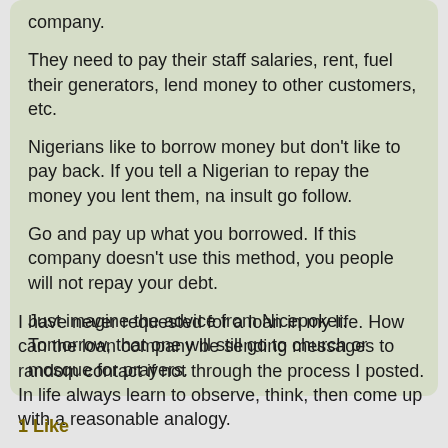company.

They need to pay their staff salaries, rent, fuel their generators, lend money to other customers, etc.

Nigerians like to borrow money but don't like to pay back. If you tell a Nigerian to repay the money you lent them, na insult go follow.

Go and pay up what you borrowed. If this company doesn't use this method, you people will not repay your debt.

Just imagine the advice from Nicepoker. Tomorrow, that one will still go to church or mosque for prayers.
I have never requested for a loan in my life. How can the loan company be sending messages to random contact if not through the process I posted. In life always learn to observe, think, then come up with a reasonable analogy.
1 Like